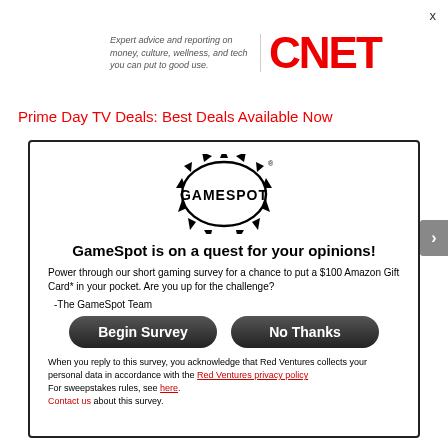[Figure (logo): CNET logo with tagline: Expert advice and reporting on money, culture, wellness, and tech you can put to good use.]
Prime Day TV Deals: Best Deals Available Now
[Figure (logo): GameSpot logo — circular bubble letters with spiky starburst]
GameSpot is on a quest for your opinions!
Power through our short gaming survey for a chance to put a $100 Amazon Gift Card* in your pocket.  Are you up for the challenge?
-The GameSpot Team
Begin Survey
No Thanks
When you reply to this survey, you acknowledge that Red Ventures collects your personal data in accordance with the Red Ventures privacy policy For sweepstakes rules, see here. Contact us about this survey.